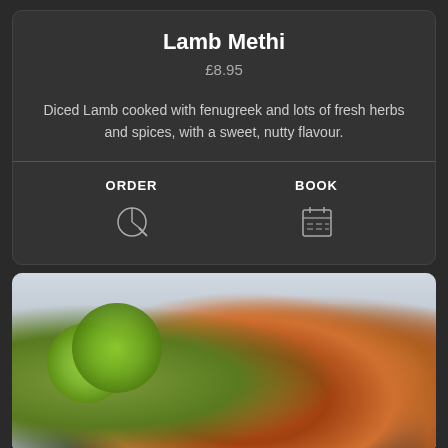Lamb Methi
£8.95
Diced Lamb cooked with fenugreek and lots of fresh herbs and spices, with a sweet, nutty flavour.
ORDER
BOOK
[Figure (photo): Photo of grilled spiced lamb pieces with charred crust, garnished with lime slices and a fresh vegetable salsa on a light background]